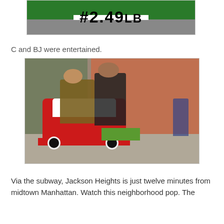[Figure (photo): Partial view of a price sign reading '#2.49 LB' on a green background, cropped at top of page]
C and BJ were entertained.
[Figure (photo): Two men sitting on and standing beside a red coin-operated ride-on fire truck toy outside a store on a sidewalk in Jackson Heights, NYC. Brick wall visible in background. A third person walks by in the background.]
Via the subway, Jackson Heights is just twelve minutes from midtown Manhattan. Watch this neighborhood pop. The